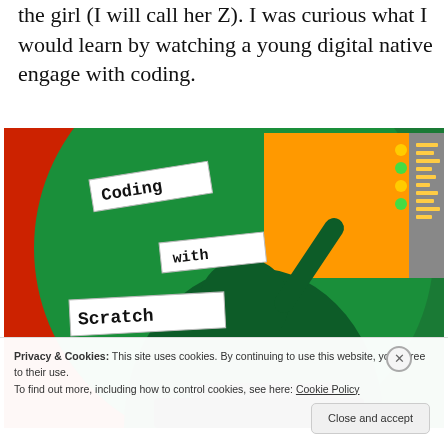the girl (I will call her Z). I was curious what I would learn by watching a young digital native engage with coding.
[Figure (photo): Illustration/collage of a child coding with Scratch. Red background with green circle and dark green child silhouette at a keyboard. Monitor showing orange screen with code. White label banners read 'Coding', 'with', 'Scratch'.]
Privacy & Cookies: This site uses cookies. By continuing to use this website, you agree to their use.
To find out more, including how to control cookies, see here: Cookie Policy